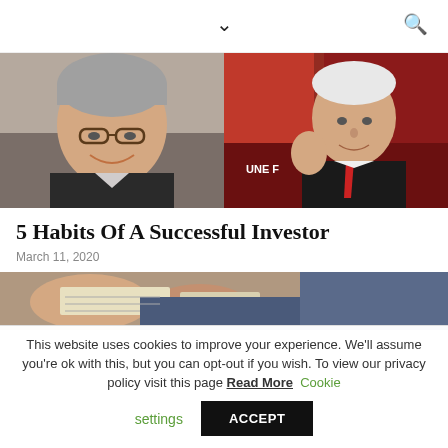navigation header with chevron/dropdown and search icon
[Figure (photo): Two side-by-side photos: left shows Bill Gates smiling in glasses and dark suit; right shows Warren Buffett in dark suit with red tie gesturing at what appears to be a Fortune event]
5 Habits Of A Successful Investor
March 11, 2020
[Figure (photo): Partial photo at bottom showing hands holding money/newspaper]
This website uses cookies to improve your experience. We'll assume you're ok with this, but you can opt-out if you wish. To view our privacy policy visit this page Read More Cookie settings ACCEPT